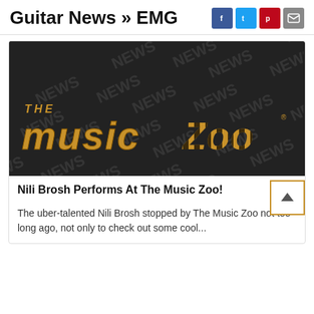Guitar News » EMG
[Figure (logo): The Music Zoo logo on a dark background with repeating NEWS watermark pattern]
Nili Brosh Performs At The Music Zoo!
The uber-talented Nili Brosh stopped by The Music Zoo not too long ago, not only to check out some cool...